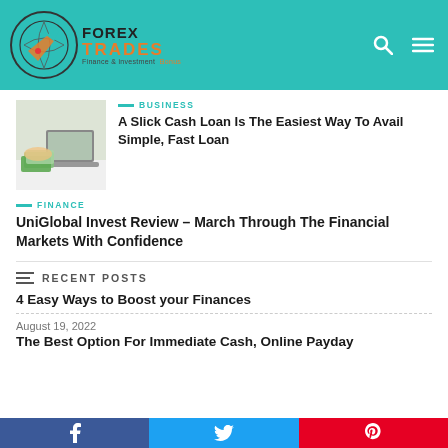FOREX TRADES Finance & investment
BUSINESS
A Slick Cash Loan Is The Easiest Way To Avail Simple, Fast Loan
FINANCE
UniGlobal Invest Review – March Through The Financial Markets With Confidence
RECENT POSTS
4 Easy Ways to Boost your Finances
August 19, 2022
The Best Option For Immediate Cash, Online Payday